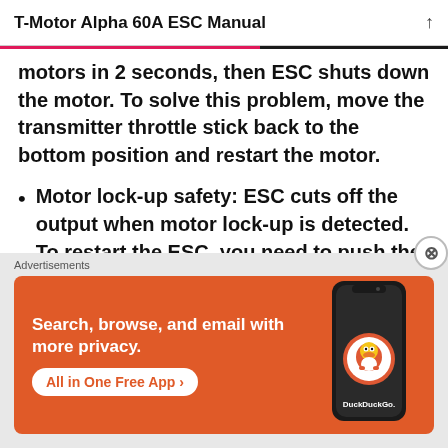T-Motor Alpha 60A ESC Manual
motors in 2 seconds, then ESC shuts down the motor. To solve this problem, move the transmitter throttle stick back to the bottom position and restart the motor.
Motor lock-up safety: ESC cuts off the output when motor lock-up is detected. To restart the ESC, you need to push the throttle stick to the bottom position and
Advertisements
[Figure (illustration): DuckDuckGo advertisement banner on orange background showing 'Search, browse, and email with more privacy. All in One Free App' with a phone image and DuckDuckGo logo]